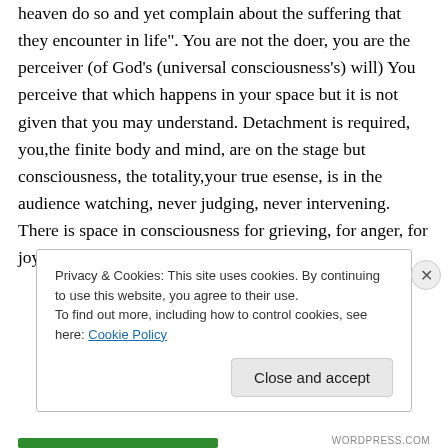heaven do so and yet complain about the suffering that they encounter in life". You are not the doer, you are the perceiver (of God's (universal consciousness's) will) You perceive that which happens in your space but it is not given that you may understand. Detachment is required, you,the finite body and mind, are on the stage but consciousness, the totality,your true esense, is in the audience watching, never judging, never intervening. There is space in consciousness for grieving, for anger, for joy, for
Privacy & Cookies: This site uses cookies. By continuing to use this website, you agree to their use.
To find out more, including how to control cookies, see here: Cookie Policy
Close and accept